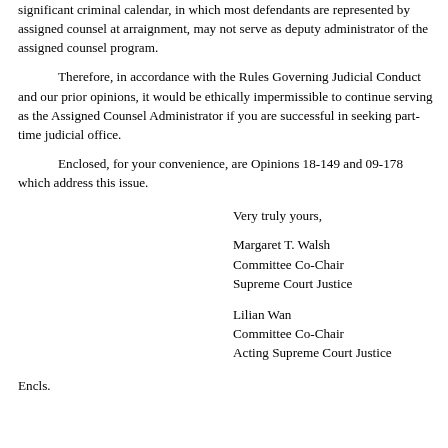significant criminal calendar, in which most defendants are represented by assigned counsel at arraignment, may not serve as deputy administrator of the assigned counsel program.
Therefore, in accordance with the Rules Governing Judicial Conduct and our prior opinions, it would be ethically impermissible to continue serving as the Assigned Counsel Administrator if you are successful in seeking part-time judicial office.
Enclosed, for your convenience, are Opinions 18-149 and 09-178 which address this issue.
Very truly yours,
Margaret T. Walsh
Committee Co-Chair
Supreme Court Justice
Lilian Wan
Committee Co-Chair
Acting Supreme Court Justice
Encls.